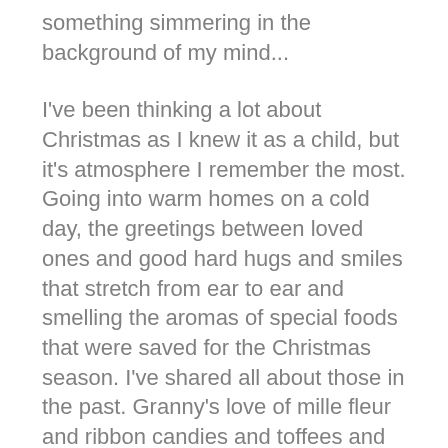something simmering in the background of my mind...
I've been thinking a lot about Christmas as I knew it as a child, but it's atmosphere I remember the most. Going into warm homes on a cold day, the greetings between loved ones and good hard hugs and smiles that stretch from ear to ear and smelling the aromas of special foods that were saved for the Christmas season. I've shared all about those in the past. Granny's love of mille fleur and ribbon candies and toffees and of Mama's love of making cookies and Grandmother, who was the most frugal of all, making multiple cakes for Christmas.
Turkey and dressing were constants at every table